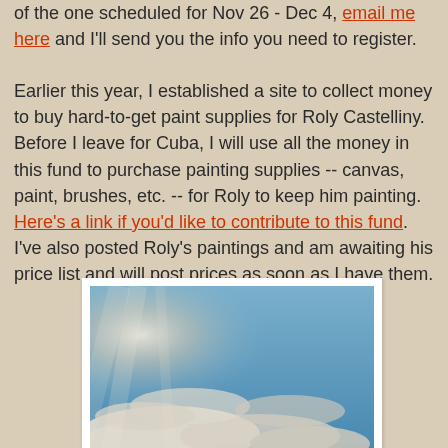of the one scheduled for Nov 26 - Dec 4, email me here and I'll send you the info you need to register.

Earlier this year, I established a site to collect money to buy hard-to-get paint supplies for Roly Castelliny. Before I leave for Cuba, I will use all the money in this fund to purchase painting supplies -- canvas, paint, brushes, etc. -- for Roly to keep him painting. Here's a link if you'd like to contribute to this fund. I've also posted Roly's paintings and am awaiting his price list and will post prices as soon as I have them.
[Figure (photo): A painting of a blue sky with white clouds and a soft warm glow on the left side]